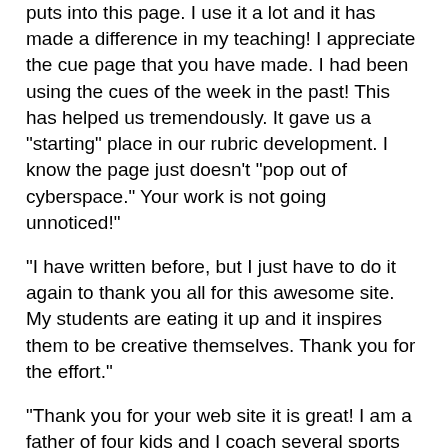puts into this page. I use it a lot and it has made a difference in my teaching! I appreciate the cue page that you have made. I had been using the cues of the week in the past! This has helped us tremendously. It gave us a "starting" place in our rubric development. I know the page just doesn't "pop out of cyberspace." Your work is not going unnoticed!"
"I have written before, but I just have to do it again to thank you all for this awesome site. My students are eating it up and it inspires them to be creative themselves. Thank you for the effort."
"Thank you for your web site it is great! I am a father of four kids and I coach several sports for kids of all ages from 6 to 12. The information contained on your web site is very helpful."
"This site is the best thing that has happened to PE in this century."
"I spent almost 3 hours tonight checking out